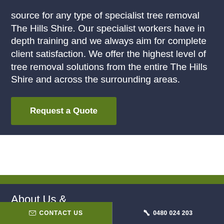source for any type of specialist tree removal The Hills Shire. Our specialist workers have in depth training and we always aim for complete client satisfaction. We offer the highest level of tree removal solutions from the entire The Hills Shire and across the surrounding areas.
Request a Quote
About Us &
What We Do
CONTACT US   0480 024 203